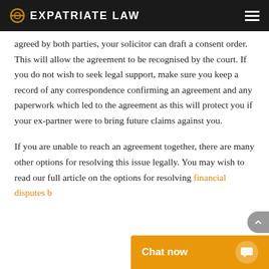EXPATRIATE LAW
agreed by both parties, your solicitor can draft a consent order. This will allow the agreement to be recognised by the court. If you do not wish to seek legal support, make sure you keep a record of any correspondence confirming an agreement and any paperwork which led to the agreement as this will protect you if your ex-partner were to bring future claims against you.
If you are unable to reach an agreement together, there are many other options for resolving this issue legally. You may wish to read our full article on the options for resolving financial disputes b…